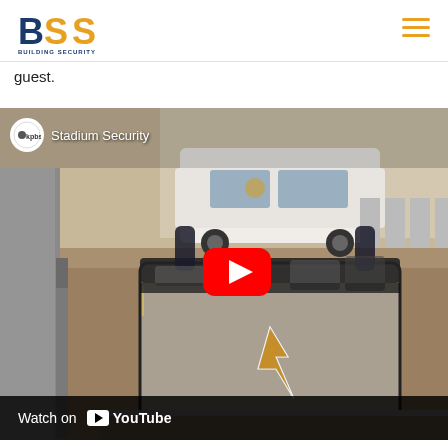[Figure (logo): BSS - Building Security Services & Systems logo with blue and gold/yellow text]
guest.
[Figure (screenshot): YouTube video embed showing 'Stadium Security' video from KPBS. Thumbnail shows a clear stadium bag (Chargers branded) in a parking area with a police SUV in background. Play button overlay visible. 'Watch on YouTube' bar at bottom.]